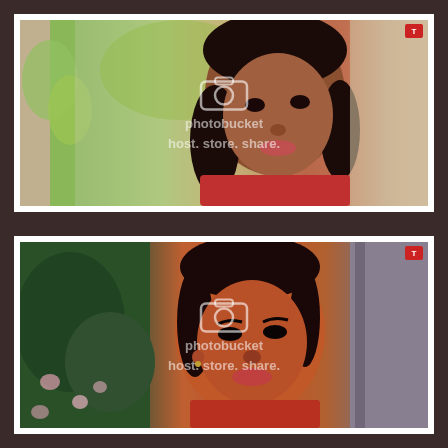[Figure (photo): Top photo: A young person with long dark hair looking upward, green foliage in background, watermark 'photobucket host. store. share.' with camera icon overlay, T-Series logo top right corner, white border frame.]
[Figure (photo): Bottom photo: A person with shorter dark hair in reddish-orange lighting, green foliage on left, gray door/wall on right, watermark 'photobucket host. store. share.' with camera icon overlay, T-Series logo top right corner, white border frame.]